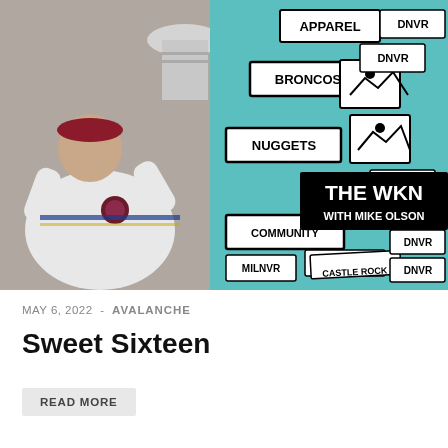[Figure (photo): Podcast/media artwork showing a hockey player in white Colorado Avalanche jersey raising the Stanley Cup, overlaid with collage of sticker-style labels reading APPAREL, BRONCOS, NUGGETS, DNVR, COMMUNITY, MILNVR, CASTLE ROCK, and a black banner reading 'THE WKN WITH MIKE OLSON']
MAY 6, 2022 - AVALANCHE
Sweet Sixteen
READ MORE